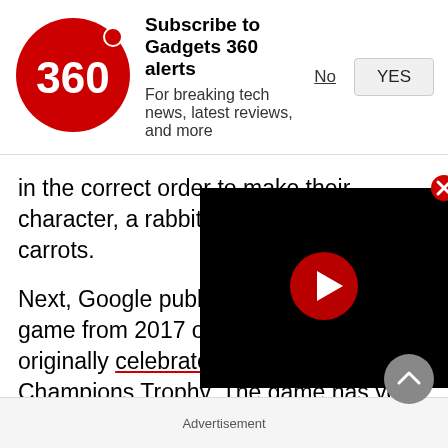Subscribe to Gadgets 360 alerts — For breaking tech news, latest reviews, and more
in the correct order to make their character, a rabbit, collect all the carrots.
Next, Google published the Cricket game from 2017 on April 28 that originally celebrated the start of ICC Champions Trophy. The game has you play as a cricket against a team of snails. As the bats to do is click on the yellow swing bu as the snail throws the ball.
[Figure (screenshot): Video player overlay with black background and red play button circle in center, with X close button in top right corner]
Advertisement